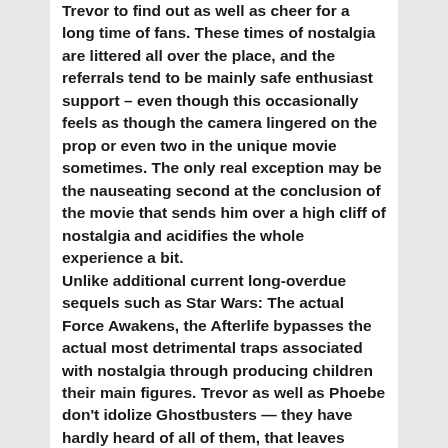Trevor to find out as well as cheer for a long time of fans. These times of nostalgia are littered all over the place, and the referrals tend to be mainly safe enthusiast support – even though this occasionally feels as though the camera lingered on the prop or even two in the unique movie sometimes. The only real exception may be the nauseating second at the conclusion of the movie that sends him over a high cliff of nostalgia and acidifies the whole experience a bit. Unlike additional current long-overdue sequels such as Star Wars: The actual Force Awakens, the Afterlife bypasses the actual most detrimental traps associated with nostalgia through producing children their main figures. Trevor as well as Phoebe don't idolize Ghostbusters — they have hardly heard of all of them, that leaves enthusiasm with regard to enthusiasts within the theatre, rather displacing this in the stars on screen. Probably the most laudable part of the Afterlife might be it's structure, as well as how small it resembles the original Ghostbusters, even though the actual film's